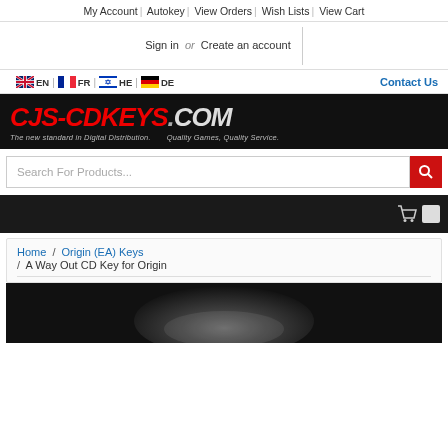My Account | Autokey | View Orders | Wish Lists | View Cart
Sign in or Create an account
EN | FR | HE | DE   Contact Us
[Figure (logo): CJS-CDKEYS.COM logo — red stylized text on black background. Tagline: The new standard in Digital Distribution. Quality Games, Quality Service.]
Search For Products...
Breadcrumb: Home / Origin (EA) Keys / A Way Out CD Key for Origin
[Figure (photo): Bottom portion of a product image for A Way Out game, dark atmospheric scene]